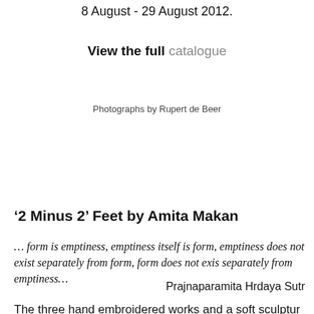8 August - 29 August 2012.
View the full catalogue
Photographs by Rupert de Beer
‘2 Minus 2’ Feet by Amita Makan
… form is emptiness, emptiness itself is form, emptiness does not exist separately from form, form does not exist separately from emptiness…
Prajnaparamita Hrdaya Sutr
The three hand embroidered works and a soft sculptur